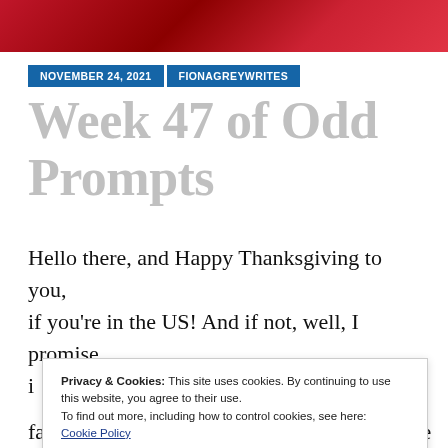[Figure (photo): Red textured background image used as page header banner]
NOVEMBER 24, 2021  FIONAGREYWRITES
Week 47 of Odd Prompts
Hello there, and Happy Thanksgiving to you, if you're in the US! And if not, well, I promise i
Privacy & Cookies: This site uses cookies. By continuing to use this website, you agree to their use. To find out more, including how to control cookies, see here: Cookie Policy
Close and accept
fail cycles, so that success can be all the more